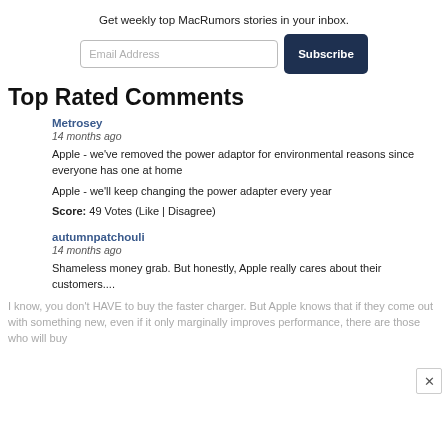Get weekly top MacRumors stories in your inbox.
Email Address  Subscribe
Top Rated Comments
Metrosey
14 months ago
Apple - we've removed the power adaptor for environmental reasons since everyone has one at home

Apple - we'll keep changing the power adapter every year

Score: 49 Votes (Like | Disagree)
autumnpatchouli
14 months ago
Shameless money grab. But honestly, Apple really cares about their customers....
I know, you don't HAVE to buy the faster charger. But Apple knows that if they come out with something new, even if it only marginally improves performance, there are those who will buy